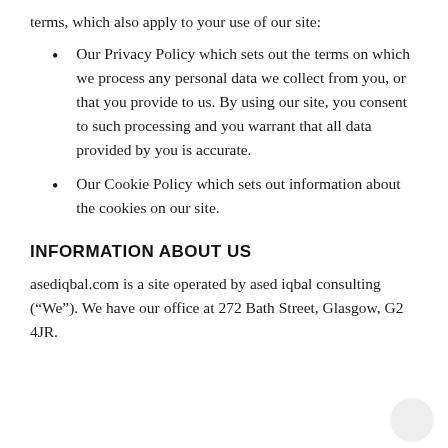terms, which also apply to your use of our site:
Our Privacy Policy which sets out the terms on which we process any personal data we collect from you, or that you provide to us. By using our site, you consent to such processing and you warrant that all data provided by you is accurate.
Our Cookie Policy which sets out information about the cookies on our site.
INFORMATION ABOUT US
asediqbal.com is a site operated by ased iqbal consulting (“We”). We have our office at 272 Bath Street, Glasgow, G2 4JR.